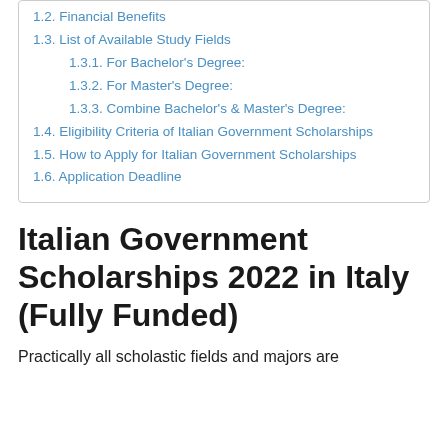1.2. Financial Benefits
1.3. List of Available Study Fields
1.3.1. For Bachelor's Degree:
1.3.2. For Master's Degree:
1.3.3. Combine Bachelor's & Master's Degree:
1.4. Eligibility Criteria of Italian Government Scholarships
1.5. How to Apply for Italian Government Scholarships
1.6. Application Deadline
Italian Government Scholarships 2022 in Italy (Fully Funded)
Practically all scholastic fields and majors are